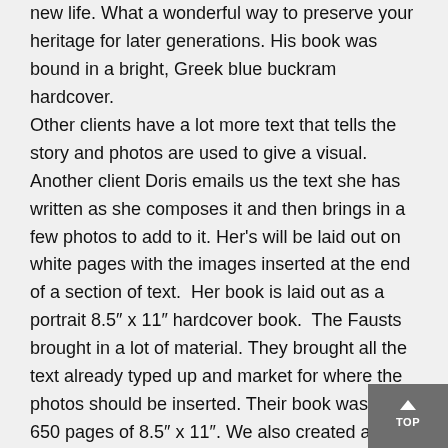new life. What a wonderful way to preserve your heritage for later generations. His book was bound in a bright, Greek blue buckram hardcover.
Other clients have a lot more text that tells the story and photos are used to give a visual. Another client Doris emails us the text she has written as she composes it and then brings in a few photos to add to it. Her's will be laid out on white pages with the images inserted at the end of a section of text.  Her book is laid out as a portrait 8.5″ x 11″ hardcover book.  The Fausts brought in a lot of material. They brought all the text already typed up and market for where the photos should be inserted. Their book was about 650 pages of 8.5″ x 11″. We also created a DVD version of their entire book so that they can watch it on their television.